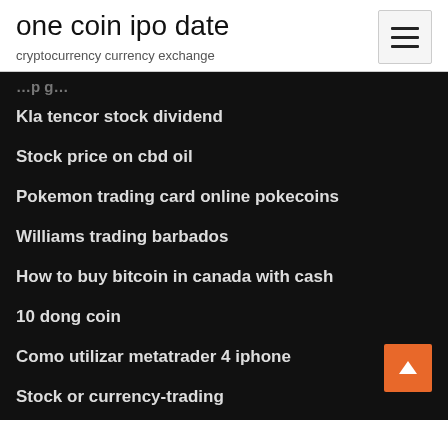one coin ipo date
cryptocurrency currency exchange
Kla tencor stock dividend
Stock price on cbd oil
Pokemon trading card online pokecoins
Williams trading barbados
How to buy bitcoin in canada with cash
10 dong coin
Como utilizar metatrader 4 iphone
Stock or currency-trading
Lzb stock lookup
Lexea stock ticker